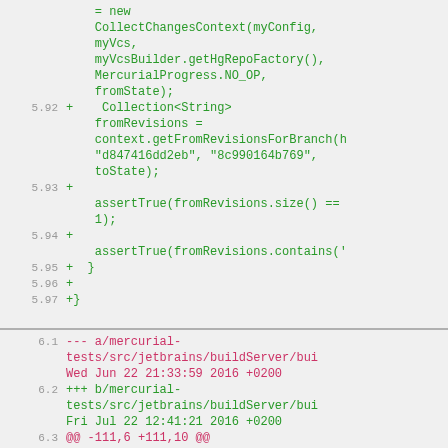[Figure (screenshot): Code diff screenshot showing two sections of a code review. First section (lines 5.92-5.97) shows added lines in green with code including Collection<String> fromRevisions, context.getFromRevisionsForBranch, assertTrue calls, and closing braces. Second section (lines 6.1-6.6) shows diff headers in pink for mercurial-tests path changes dated Wed Jun 22 and Fri Jul 22 2016, a hunk header, and context lines with public boolean runWithProfile method.]